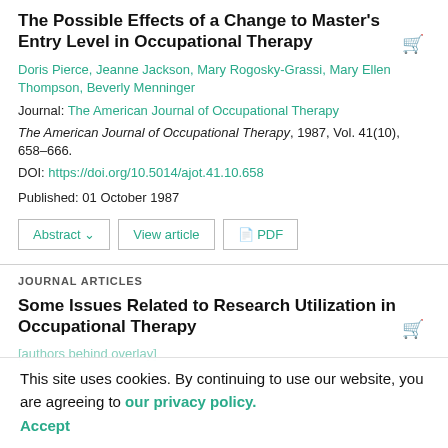The Possible Effects of a Change to Master's Entry Level in Occupational Therapy
Doris Pierce, Jeanne Jackson, Mary Rogosky-Grassi, Mary Ellen Thompson, Beverly Menninger
Journal: The American Journal of Occupational Therapy
The American Journal of Occupational Therapy, 1987, Vol. 41(10), 658–666.
DOI: https://doi.org/10.5014/ajot.41.10.658
Published: 01 October 1987
JOURNAL ARTICLES
Some Issues Related to Research Utilization in Occupational Therapy
This site uses cookies. By continuing to use our website, you are agreeing to our privacy policy. Accept